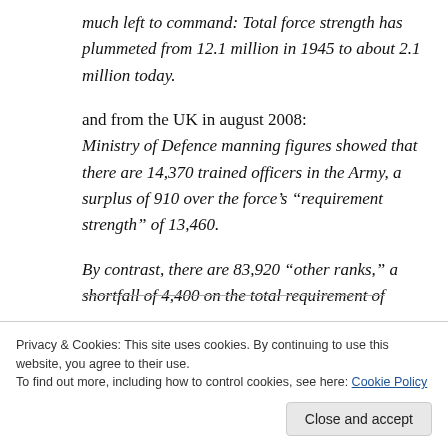much left to command: Total force strength has plummeted from 12.1 million in 1945 to about 2.1 million today.
and from the UK in august 2008: Ministry of Defence manning figures showed that there are 14,370 trained officers in the Army, a surplus of 910 over the force’s “requirement strength” of 13,460.
By contrast, there are 83,920 “other ranks,” a shortfall of 4,400 on the total requirement of
Privacy & Cookies: This site uses cookies. By continuing to use this website, you agree to their use.
To find out more, including how to control cookies, see here: Cookie Policy